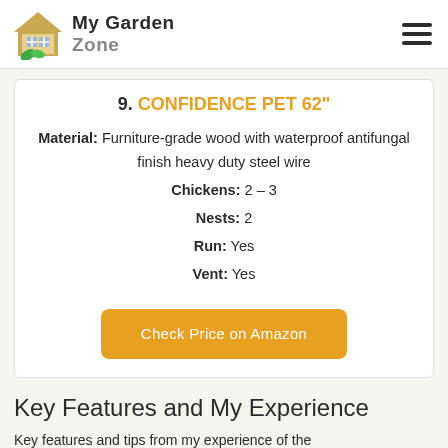My Garden Zone
9. CONFIDENCE PET 62"
Material: Furniture-grade wood with waterproof antifungal finish heavy duty steel wire
Chickens: 2 – 3
Nests: 2
Run: Yes
Vent: Yes
Check Price on Amazon
Key Features and My Experience